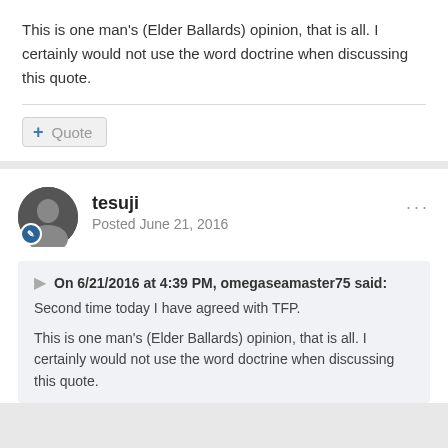This is one man's (Elder Ballards) opinion, that is all. I certainly would not use the word doctrine when discussing this quote.
Quote
tesuji
Posted June 21, 2016
On 6/21/2016 at 4:39 PM, omegaseamaster75 said:
Second time today I have agreed with TFP.

This is one man's (Elder Ballards) opinion, that is all. I certainly would not use the word doctrine when discussing this quote.